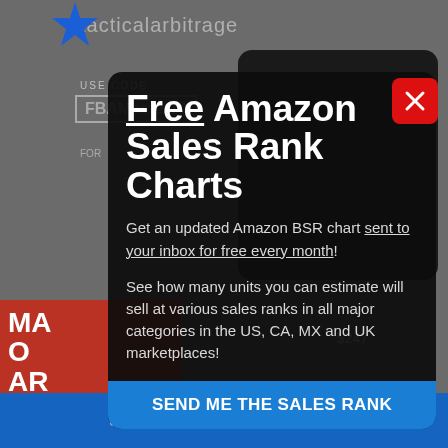[Figure (screenshot): Background screenshot of a website (tacticalarbitrage) with promotional content, partially dimmed. Shows USE CODE / FBAMaster10 coupon box, a smartphone image, and a red banner with text MA / O / AR / IN]
Free Amazon Sales Rank Charts
Get an updated Amazon BSR chart sent to your inbox for free every month!
See how many units you can estimate will sell at various sales ranks in all major categories in the US, CA, MX and UK marketplaces!
SEND ME THE SALES RANK